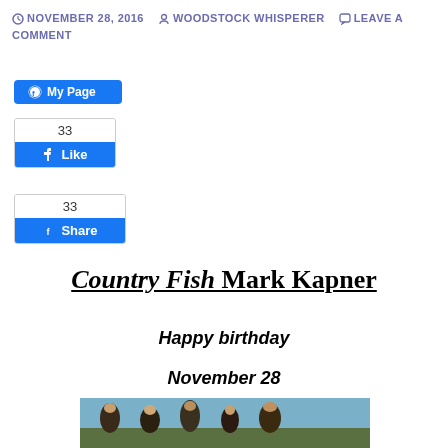NOVEMBER 28, 2016  WOODSTOCK WHISPERER  LEAVE A COMMENT
[Figure (screenshot): Facebook My Page button (blue rounded button with circle-f icon)]
[Figure (screenshot): Facebook Like widget showing count 33 and blue Like button with thumbs up icon]
[Figure (screenshot): Facebook Share widget showing count 33 and blue Share button with Facebook icon]
Country Fish Mark Kapner
Happy birthday
November 28
[Figure (photo): Group photo of five long-haired rock band members posing together outdoors]